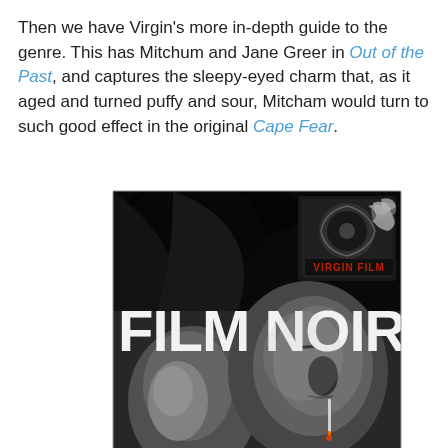Then we have Virgin's more in-depth guide to the genre. This has Mitchum and Jane Greer in Out of the Past, and captures the sleepy-eyed charm that, as it aged and turned puffy and sour, Mitcham would turn to such good effect in the original Cape Fear.
[Figure (photo): Book cover for 'Film Noir' from Virgin Film series. Black and white image of a man and woman, man holding a cigarette. Top right corner shows a film reel image in a box with 'VIRGIN FILM' text in red. Large white bold text 'FILM NOIR' across the middle of the cover.]